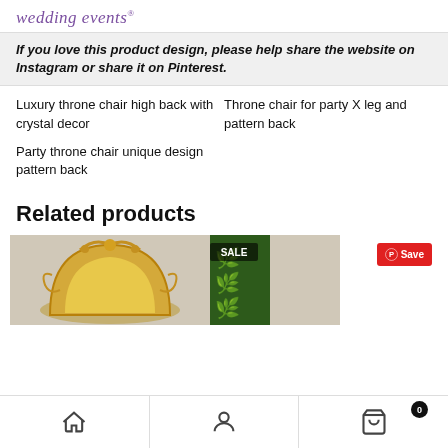wedding events®
If you love this product design, please help share the website on Instagram or share it on Pinterest.
Luxury throne chair high back with crystal decor
Throne chair for party X leg and pattern back
Party throne chair unique design pattern back
Related products
[Figure (photo): Product photo of a gold ornate throne chair with a SALE badge overlay and a Pinterest Save button]
Home | Account | Cart (0)